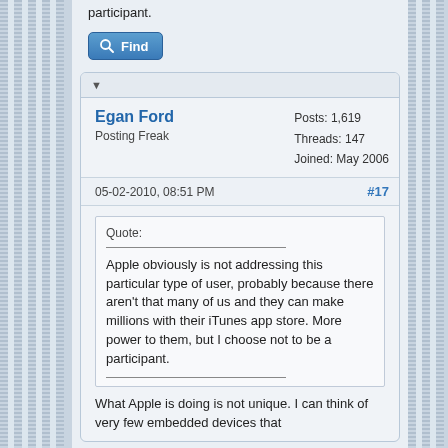participant.
Find
Egan Ford
Posting Freak
Posts: 1,619
Threads: 147
Joined: May 2006
05-02-2010, 08:51 PM
#17
Quote:
Apple obviously is not addressing this particular type of user, probably because there aren't that many of us and they can make millions with their iTunes app store. More power to them, but I choose not to be a participant.
What Apple is doing is not unique. I can think of very few embedded devices that